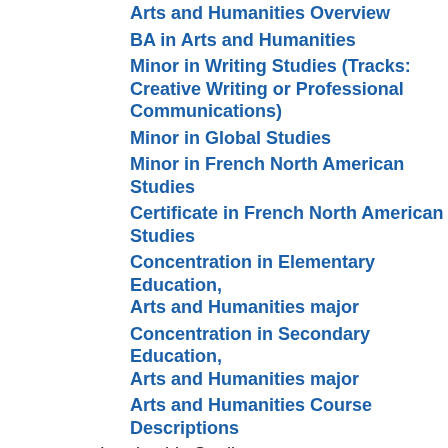Arts and Humanities Overview
BA in Arts and Humanities
Minor in Writing Studies (Tracks: Creative Writing or Professional Communications)
Minor in Global Studies
Minor in French North American Studies
Certificate in French North American Studies
Concentration in Elementary Education, Arts and Humanities major
Concentration in Secondary Education, Arts and Humanities major
Arts and Humanities Course Descriptions
Leadership Studies
Leadership Studies Overview
BS in Leadership and Organizational